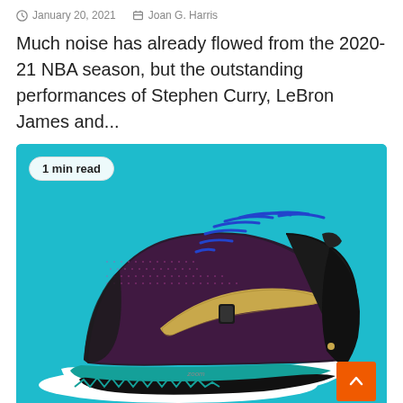January 20, 2021   Joan G. Harris
Much noise has already flowed from the 2020-21 NBA season, but the outstanding performances of Stephen Curry, LeBron James and...
[Figure (photo): Nike basketball shoe (Kyrie 7) on a teal background with a '1 min read' badge in the top-left corner and an orange scroll-to-top button in the bottom-right corner.]